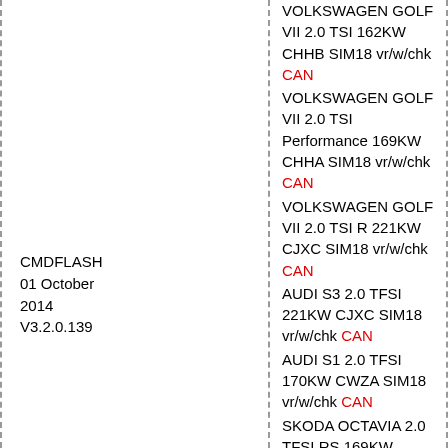CMDFLASH
01 October 2014
V3.2.0.139
VOLKSWAGEN GOLF VII 2.0 TSI 162KW CHHB SIM18 vr/w/chk CAN
VOLKSWAGEN GOLF VII 2.0 TSI Performance 169KW CHHA SIM18 vr/w/chk CAN
VOLKSWAGEN GOLF VII 2.0 TSI R 221KW CJXC SIM18 vr/w/chk CAN
AUDI S3 2.0 TFSI 221KW CJXC SIM18 vr/w/chk CAN
AUDI S1 2.0 TFSI 170KW CWZA SIM18 vr/w/chk CAN
SKODA OCTAVIA 2.0 TFSI RS 169KW CHHA SIM18 vr/w/chk CAN
SEAT LEON 2.0 TSI CUPRA 206KW CJXA SIM18 vr/w/chk CAN
BENTLEY CONTINENTAL 4.0 GT V8 373KW CEUA BOSCH-MED17.1.1 TC1797 vr/w/chk